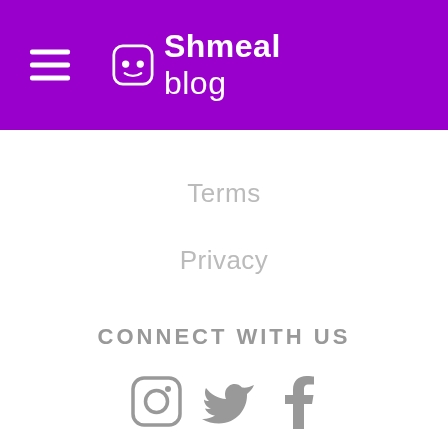Shmeal blog
Terms
Privacy
CONNECT WITH US
[Figure (illustration): Three social media icons: Instagram, Twitter, Facebook in gray]